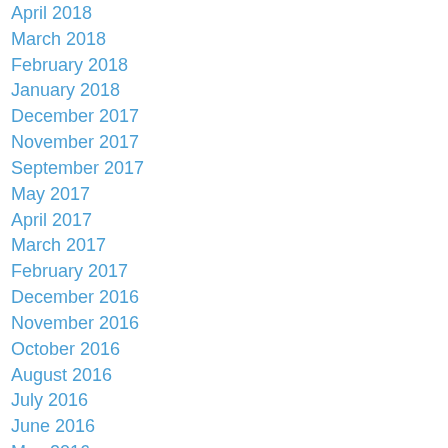April 2018
March 2018
February 2018
January 2018
December 2017
November 2017
September 2017
May 2017
April 2017
March 2017
February 2017
December 2016
November 2016
October 2016
August 2016
July 2016
June 2016
May 2016
April 2016
March 2016
February 2016